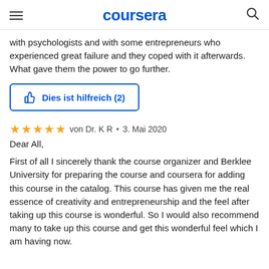coursera
with psychologists and with some entrepreneurs who experienced great failure and they coped with it afterwards. What gave them the power to go further.
Dies ist hilfreich (2)
von Dr. K R • 3. Mai 2020
Dear All,
First of all I sincerely thank the course organizer and Berklee University for preparing the course and coursera for adding this course in the catalog. This course has given me the real essence of creativity and entrepreneurship and the feel after taking up this course is wonderful. So I would also recommend many to take up this course and get this wonderful feel which I am having now.